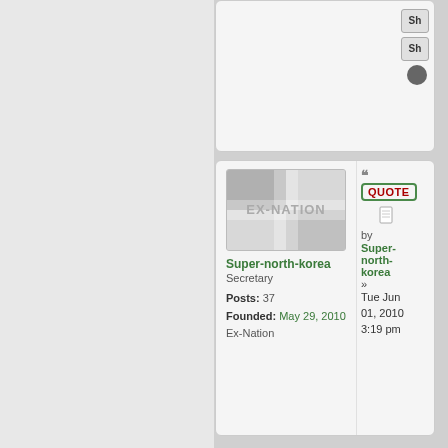[Figure (screenshot): Top portion of a forum post card with 'Sh' buttons and a grey circle icon on the right side]
[Figure (screenshot): Forum user profile card showing Super-north-korea user with EX-NATION flag avatar, Secretary role, 37 posts, founded May 29 2010, and a QUOTE button with timestamp Tue Jun 01, 2010 3:19 pm]